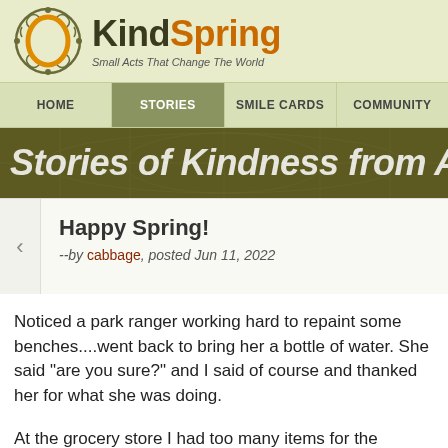[Figure (logo): KindSpring logo with circular decorative emblem and site name 'KindSpring' and tagline 'Small Acts That Change The World']
HOME | STORIES | SMILE CARDS | COMMUNITY
Stories of Kindness from Around
Happy Spring!
--by cabbage, posted Jun 11, 2022
Noticed a park ranger working hard to repaint some benches....went back to bring her a bottle of water. She said "are you sure?" and I said of course and thanked her for what she was doing.
At the grocery store I had too many items for the "express" checkout lane so I was waiting in the next line when the cashier for the express waved me over and said "if